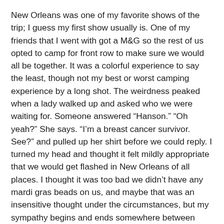New Orleans was one of my favorite shows of the trip; I guess my first show usually is. One of my friends that I went with got a M&G so the rest of us opted to camp for front row to make sure we would all be together. It was a colorful experience to say the least, though not my best or worst camping experience by a long shot. The weirdness peaked when a lady walked up and asked who we were waiting for. Someone answered “Hanson.” “Oh yeah?” She says. “I’m a breast cancer survivor. See?” and pulled up her shirt before we could reply. I turned my head and thought it felt mildly appropriate that we would get flashed in New Orleans of all places. I thought it was too bad we didn’t have any mardi gras beads on us, and maybe that was an insensitive thought under the circumstances, but my sympathy begins and ends somewhere between abstract conversation and unwanted physical proof. I can only guess that maybe she misheard and thought we said “cancer” rather than “Hanson,” but really I couldn’t tell you why admitting we were waiting for Hanson would lead to that reaction. It’s just part of the weird territory that comes with the risk of camping, I